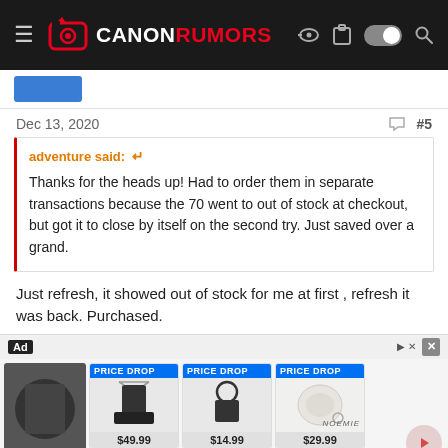CANON RUMORS
Dec 13, 2020   #5
adventure said:  Thanks for the heads up! Had to order them in separate transactions because the 70 went to out of stock at checkout, but got it to close by itself on the second try. Just saved over a grand.
Just refresh, it showed out of stock for me at first , refresh it was back. Purchased.
[Figure (screenshot): Advertisement banner showing three handbag/purse items with PRICE DROP badges and prices $49.99, $14.99, $29.99. NOEMIE brand shown.]
Advertisement